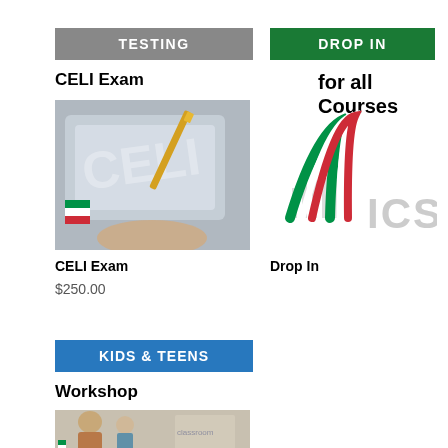TESTING
DROP IN
CELI Exam
for all Courses
[Figure (photo): Close-up photo of CELI exam card being held, with pencil visible]
[Figure (logo): ICS logo: Italian flag-colored arch design with ICS text in grey]
CELI Exam
Drop In
$250.00
KIDS & TEENS
Workshop
[Figure (photo): Photo of teacher with kids in a classroom setting]